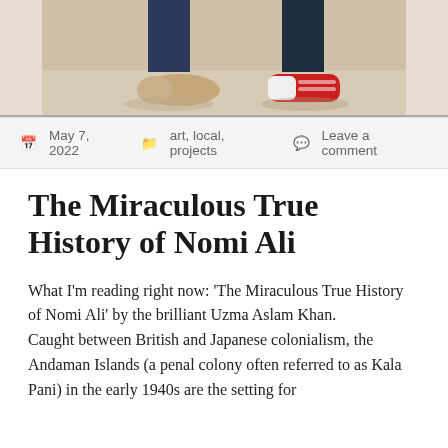[Figure (photo): Cropped photo showing the lower legs and feet of two people standing; one wearing beige/tan slip-on shoes, the other wearing red sneakers with white soles, both in dark jeans.]
May 7, 2022   art, local, projects   Leave a comment
The Miraculous True History of Nomi Ali
What I'm reading right now: 'The Miraculous True History of Nomi Ali' by the brilliant Uzma Aslam Khan.
Caught between British and Japanese colonialism, the Andaman Islands (a penal colony often referred to as Kala Pani) in the early 1940s are the setting for Nomi Ali's story.